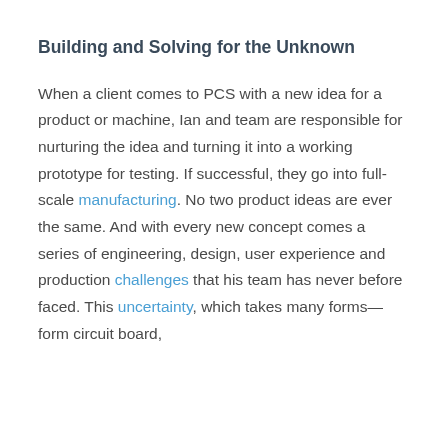Building and Solving for the Unknown
When a client comes to PCS with a new idea for a product or machine, Ian and team are responsible for nurturing the idea and turning it into a working prototype for testing. If successful, they go into full-scale manufacturing. No two product ideas are ever the same. And with every new concept comes a series of engineering, design, user experience and production challenges that his team has never before faced. This uncertainty, which takes many forms—form circuit board,